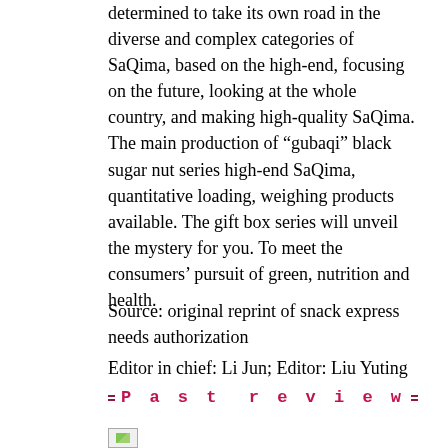determined to take its own road in the diverse and complex categories of SaQima, based on the high-end, focusing on the future, looking at the whole country, and making high-quality SaQima. The main production of “gubaqi” black sugar nut series high-end SaQima, quantitative loading, weighing products available. The gift box series will unveil the mystery for you. To meet the consumers’ pursuit of green, nutrition and health.
Source: original reprint of snack express needs authorization
Editor in chief: Li Jun; Editor: Liu Yuting
Past review
[Figure (photo): Small image placeholder at bottom left]